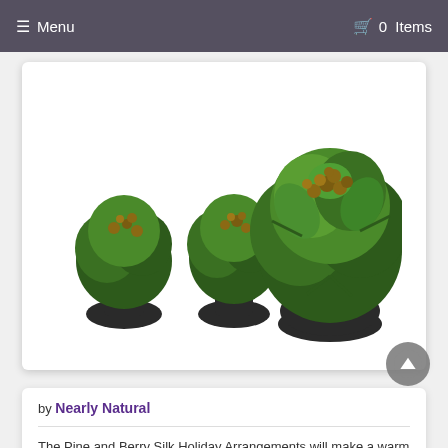≡ Menu    🛒 0  Items
[Figure (photo): Three potted pine and berry silk holiday floral arrangements in dark round pots against white background. Two smaller arrangements on the left and one larger arrangement on the right with pine branches, green leaves, and decorative berries/pinecones.]
by Nearly Natural
The Pine and Berry Silk Holiday Arrangements will make a warm and welcoming addition to your home or office. 7 inches high x 7.5 inches wide x 7.5 inches deep. ... Read more